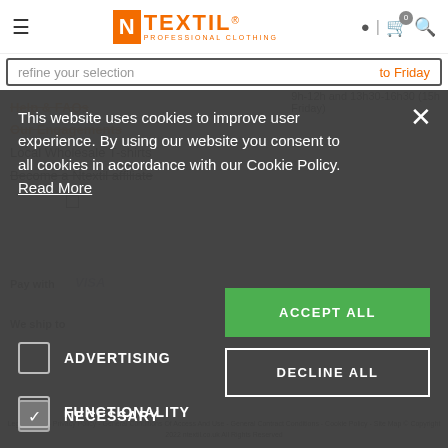N TEXTIL PROFESSIONAL CLOTHING
refine your selection
to Friday
9h-12h and 13h30-16h30 (15h Friday)
Help & FAQs
Our Engagements
Local Wholesale T-shirts
Become a Ntextil affiliate
This website uses cookies to improve user experience. By using our website you consent to all cookies in accordance with our Cookie Policy. Read More
ACCEPT ALL
DECLINE ALL
NECESSARY
PERFORMANCE
ADVERTISING
FUNCTIONALITY
Legal Notice - Privacy Policy - General Conditions Of Access And Use - General Contract Conditions - Cookie Policy - Site Map © Copyright 2022 ntextil.co.uk All Rights Reserved